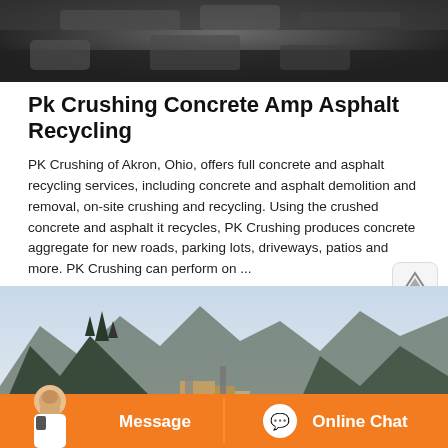[Figure (photo): Dark rocky/stone surface photo at top of page]
Pk Crushing Concrete Amp Asphalt Recycling
PK Crushing of Akron, Ohio, offers full concrete and asphalt recycling services, including concrete and asphalt demolition and removal, on-site crushing and recycling. Using the crushed concrete and asphalt it recycles, PK Crushing produces concrete aggregate for new roads, parking lots, driveways, patios and more. PK Crushing can perform on ...
[Figure (photo): Mountain landscape with industrial crushing equipment in foreground, with chat interface overlay showing Message and Online Chat buttons and customer service representative avatar]